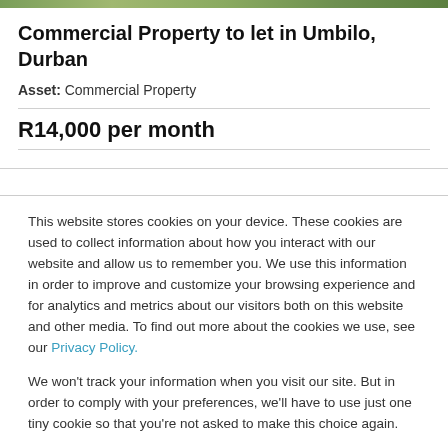[Figure (photo): Partial green foliage/nature image at top of page]
Commercial Property to let in Umbilo, Durban
Asset: Commercial Property
R14,000 per month
This website stores cookies on your device. These cookies are used to collect information about how you interact with our website and allow us to remember you. We use this information in order to improve and customize your browsing experience and for analytics and metrics about our visitors both on this website and other media. To find out more about the cookies we use, see our Privacy Policy.
We won't track your information when you visit our site. But in order to comply with your preferences, we'll have to use just one tiny cookie so that you're not asked to make this choice again.
Accept
Decline